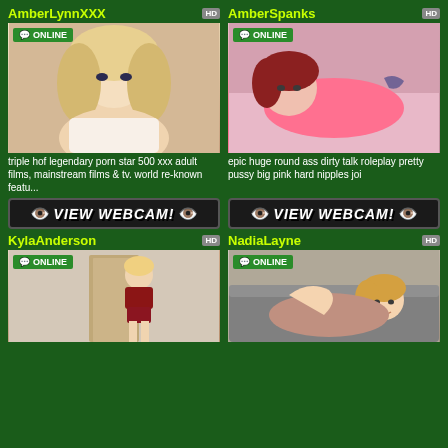AmberLynnXXX
[Figure (photo): Blonde woman lying on bed in white lingerie]
triple hof legendary porn star 500 xxx adult films, mainstream films & tv. world re-known featu...
AmberSpanks
[Figure (photo): Redhead woman in pink lingerie lying on bed]
epic huge round ass dirty talk roleplay pretty pussy big pink hard nipples joi
VIEW WEBCAM!
VIEW WEBCAM!
KylaAnderson
[Figure (photo): Blonde woman in red top and shorts posing]
NadiaLayne
[Figure (photo): Blonde woman on couch smiling]